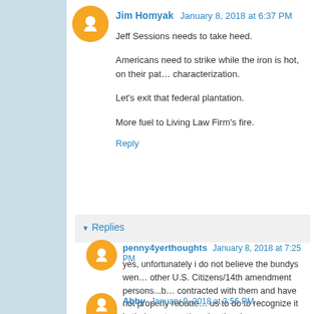Jim Homyak  January 8, 2018 at 6:37 PM
Jeff Sessions needs to take heed.
Americans need to strike while the iron is hot, on their path... characterization.
Let's exit that federal plantation.
More fuel to Living Law Firm's fire.
Reply
Replies
penny4yerthoughts  January 8, 2018 at 7:25 PM
yes, unfortunately i do not believe the bundys wen... other U.S. Citizens/14th amendment persons...b... contracted with them and have not properly rebutte... us to do to recognize it in their system otherwise th... be proven without a preponderance of evidence. I... court and with their fine peace officers on the side o...
Abby  January 9, 2018 at 3:56 PM